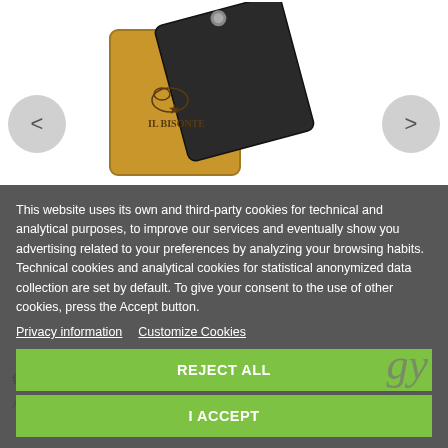[Figure (photo): Two leather wallets from IL BISONTE brand — one yellow/mustard colored and one dark brown/black, overlapping each other. The yellow wallet has the IL BISONTE logo with a buffalo and star.]
€20.49
Add to cart
This website uses its own and third-party cookies for technical and analytical purposes, to improve our services and eventually show you advertising related to your preferences by analyzing your browsing habits. Technical cookies and analytical cookies for statistical anonymized data collection are set by default. To give your consent to the use of other cookies, press the Accept button.
Privacy information    Customize Cookies
REJECT ALL
I ACCEPT